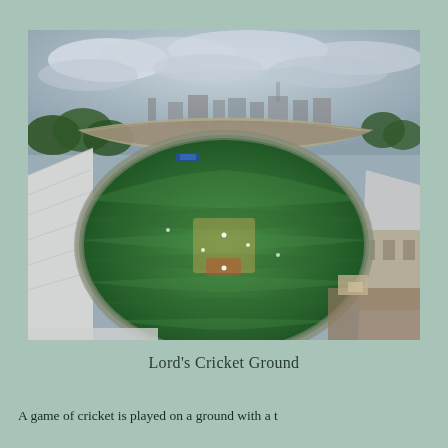[Figure (photo): Aerial fisheye-lens photograph of Lord's Cricket Ground in London, showing the oval cricket pitch surrounded by packed stands of spectators, with trees and city buildings visible in the background under a cloudy sky.]
Lord's Cricket Ground
A game of cricket is played on a ground with a t